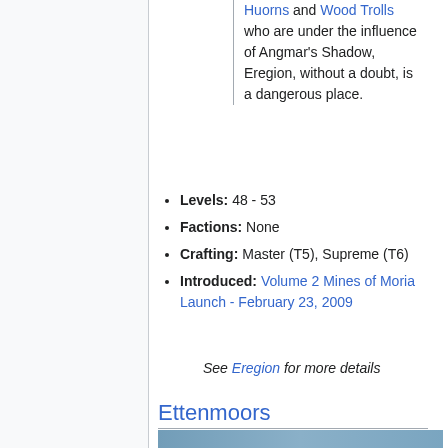Huorns and Wood Trolls who are under the influence of Angmar's Shadow, Eregion, without a doubt, is a dangerous place.
Levels: 48 - 53
Factions: None
Crafting: Master (T5), Supreme (T6)
Introduced: Volume 2 Mines of Moria Launch - February 23, 2009
See Eregion for more details
Ettenmoors
[Figure (photo): Photo strip at bottom of page]